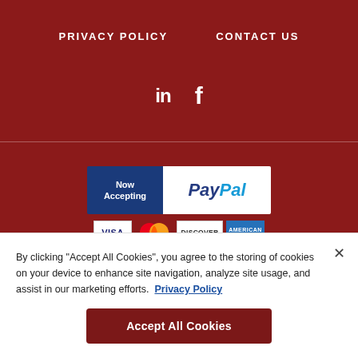PRIVACY POLICY   CONTACT US
[Figure (infographic): Social media icons: LinkedIn (in) and Facebook (f) in white on dark red background]
[Figure (infographic): PayPal Now Accepting banner with blue left panel and white right panel showing PayPal logo]
[Figure (infographic): Payment card icons: VISA, Mastercard, Discover, American Express]
By clicking "Accept All Cookies", you agree to the storing of cookies on your device to enhance site navigation, analyze site usage, and assist in our marketing efforts.  Privacy Policy
Accept All Cookies